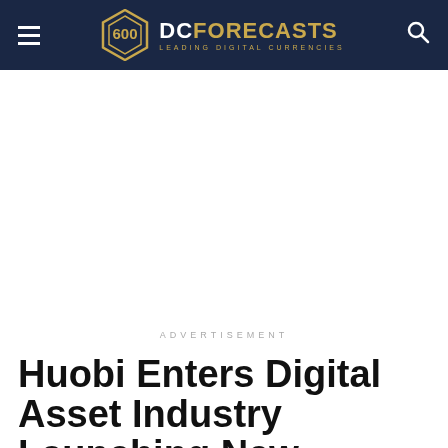DC Forecasts — Leading Digital Currencies
ADVERTISEMENT
Huobi Enters Digital Asset Industry Launching New Custody Platform